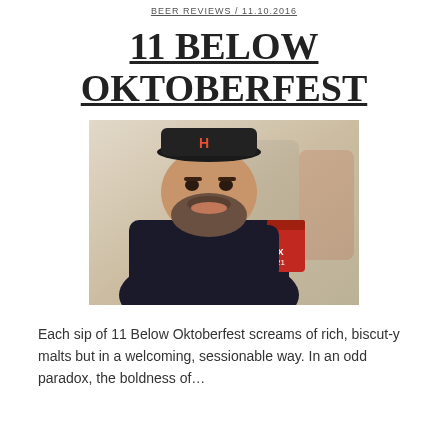BEER REVIEWS / 11.10.2016
11 BELOW OKTOBERFEST
[Figure (photo): A man wearing a dark shirt and baseball cap holding a red cup with a Texas logo, with people in the background at what appears to be a brewery event.]
Each sip of 11 Below Oktoberfest screams of rich, biscut-y malts but in a welcoming, sessionable way. In an odd paradox, the boldness of…